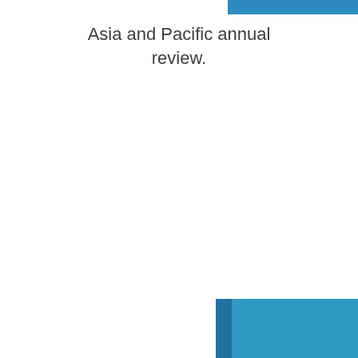[Figure (illustration): Blue horizontal bar at top right portion of page, part of book cover design element]
Asia and Pacific annual review.
[Figure (illustration): Blue book illustration showing front cover and spine, with darker blue spine on the left and lighter blue main cover, positioned in the lower center-right of the page]